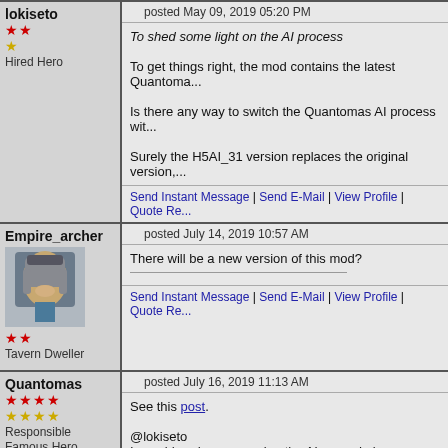lokiseto
★★ Hired Hero
posted May 09, 2019 05:20 PM
To shed some light on the AI process
To get things right, the mod contains the latest Quantoma...
Is there any way to switch the Quantomas AI process wit...
Surely the H5AI_31 version replaces the original version,...
Send Instant Message | Send E-Mail | View Profile | Quote Re...
Empire_archer
★★ Tavern Dweller
posted July 14, 2019 10:57 AM
There will be a new version of this mod?
Send Instant Message | Send E-Mail | View Profile | Quote Re...
Quantomas
★★★★ ★★★★ Responsible Famous Hero AI Wizard
posted July 16, 2019 11:13 AM
See this post.
@lokiseto I considered programming the AI upgrade in a way that y... the vanilla AI or the upgrade. But knowing how both work... have a good laugh, and never use the vanilla again. This... vanilla AI its cheats back. But this wouldn't fundamentally...